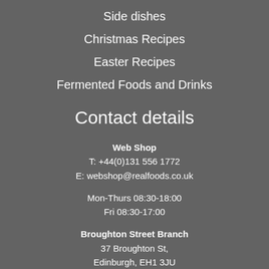Side dishes
Christmas Recipes
Easter Recipes
Fermented Foods and Drinks
Contact details
Web Shop
T: +44(0)131 556 1772
E: webshop@realfoods.co.uk
Mon-Thurs 08:30-18:00
Fri 08:30-17:00
Broughton Street Branch
37 Broughton St,
Edinburgh, EH1 3JU
T: +44(0)131 557 1911
Mon-Fri 09:00-19:00
Sat 09:00-18:00